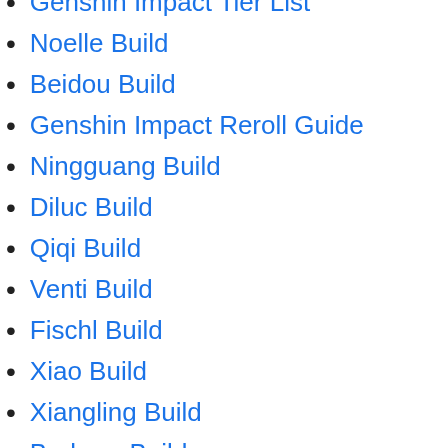Genshin Impact Tier List
Noelle Build
Beidou Build
Genshin Impact Reroll Guide
Ningguang Build
Diluc Build
Qiqi Build
Venti Build
Fischl Build
Xiao Build
Xiangling Build
Barbara Build
Chongyun Build
Jean Build
Hu Tao Build